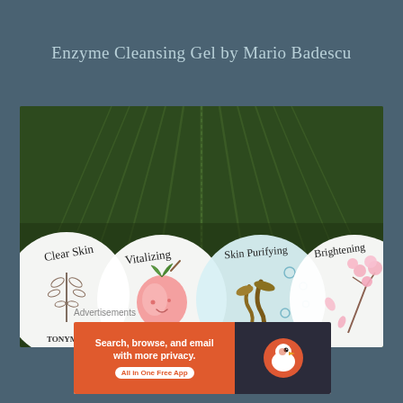Enzyme Cleansing Gel by Mario Badescu
[Figure (photo): Photo of four round facial mask packets arranged in a row on top of large green tropical leaves. The packets are labeled: Clear Skin (with botanical herb illustration), Vitalizing (with peach illustration), Skin Purifying (with seaweed/kelp illustration), and Brightening (with cherry blossom illustration). Text visible at bottom: TONYMOLY, REAL, I'm REAL. Brand is Tony Moly I'm Real sheet masks.]
Advertisements
[Figure (infographic): DuckDuckGo advertisement banner. Left side has orange background with text: Search, browse, and email with more privacy. All in One Free App. Right side has dark background with DuckDuckGo duck logo.]